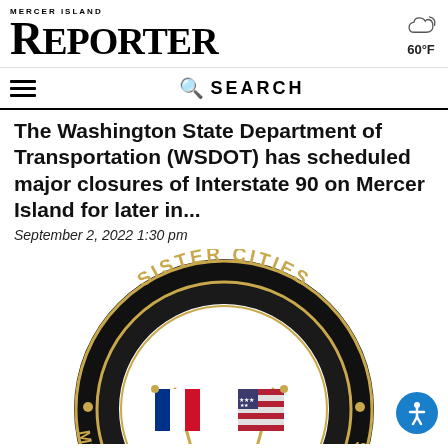MERCER ISLAND REPORTER
The Washington State Department of Transportation (WSDOT) has scheduled major closures of Interstate 90 on Mercer Island for later in...
September 2, 2022 1:30 pm
[Figure (illustration): Sister Cities medallion/pin showing crossed French and American flags with text SISTER CITIES and MERCER IS... ON LES BAINS around the border on a black circular background with gold lettering]